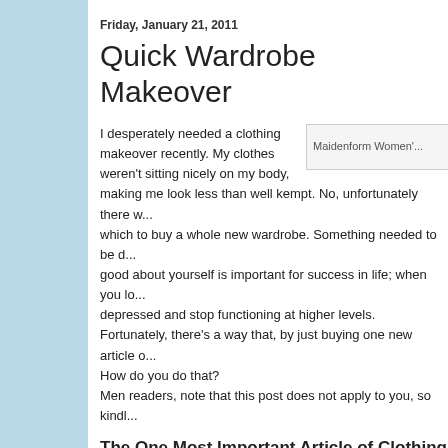Friday, January 21, 2011
Quick Wardrobe Makeover
I desperately needed a clothing makeover recently. My clothes weren't sitting nicely on my body, making me look less than well kempt. No, unfortunately there w... which to buy a whole new wardrobe. Something needed to be d... good about yourself is important for success in life; when you lo... depressed and stop functioning at higher levels.
Fortunately, there's a way that, by just buying one new article o...
How do you do that?
Men readers, note that this post does not apply to you, so kindl...
[Figure (other): Maidenform Women's product image placeholder]
The One Most Important Article of Clothing
I've nursed both my boys. I'm still nursing my 16 month old son... you stretch out, shall we say. Nursing bras don't exactly help ma... For well endowed women, nursing bras accomplish nothing, at... Since Ike was born, I had been wearing the same nursing bras...